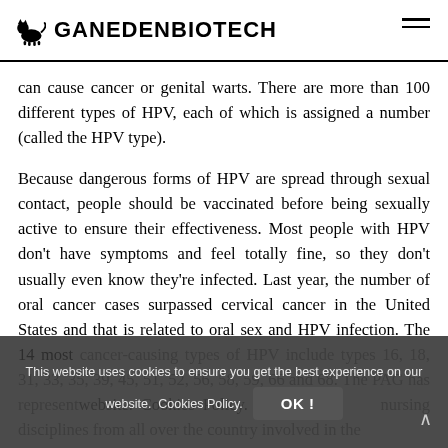GANEDENBIOTECH
can cause cancer or genital warts. There are more than 100 different types of HPV, each of which is assigned a number (called the HPV type).
Because dangerous forms of HPV are spread through sexual contact, people should be vaccinated before being sexually active to ensure their effectiveness. Most people with HPV don't have symptoms and feel totally fine, so they don't usually even know they're infected. Last year, the number of oral cancer cases surpassed cervical cancer in the United States and that is related to oral sex and HPV infection. The 14 most cancer-causing types of HPV include types 16, 18, 31, 33, 35, 39, 45, 51, 52, 56, 58, 59, 66 and 68. The PAG has represent... nursing disciplines from all over the country involved in the
This website uses cookies to ensure you get the best experience on our website. Cookies Policy. OK!